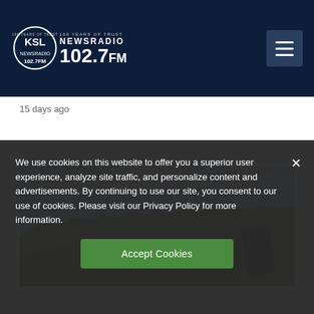KSL NewsRadio 102.7 FM — 100 Years of Trust
15 days ago
[Figure (photo): Landscape photo showing a dry hillside with scrub trees/bushes under a partly cloudy blue sky, with a dark rock formation on the right side.]
We use cookies on this website to offer you a superior user experience, analyze site traffic, and personalize content and advertisements. By continuing to use our site, you consent to our use of cookies. Please visit our Privacy Policy for more information.
Accept Cookies